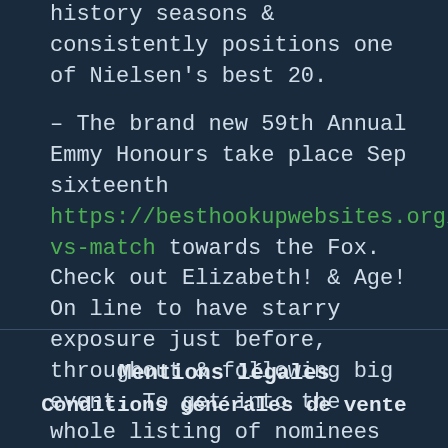history seasons & consistently positions one of Nielsen's best 20.
– The brand new 59th Annual Emmy Honours take place Sep sixteenth https://besthookupwebsites.org/tinder-vs-match towards the Fox. Check out Elizabeth! & Age! On line to have starry exposure just before, throughout & following big event. To get into the whole listing of nominees so far, go to
Mentions légales
Conditions générales de vente